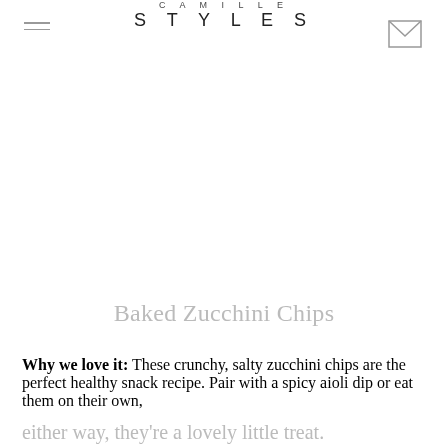CAMILLE STYLES
Baked Zucchini Chips
Why we love it: These crunchy, salty zucchini chips are the perfect healthy snack recipe. Pair with a spicy aioli dip or eat them on their own, either way, they’re a lovely little treat.